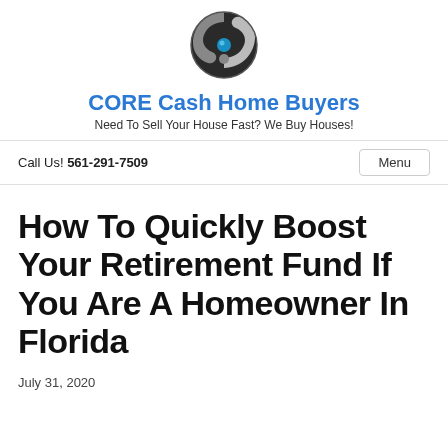[Figure (logo): CORE Cash Home Buyers circular logo with yin-yang style design in black/grey with a blue orb in the center]
CORE Cash Home Buyers
Need To Sell Your House Fast? We Buy Houses!
Call Us! 561-291-7509
Menu
How To Quickly Boost Your Retirement Fund If You Are A Homeowner In Florida
July 31, 2020